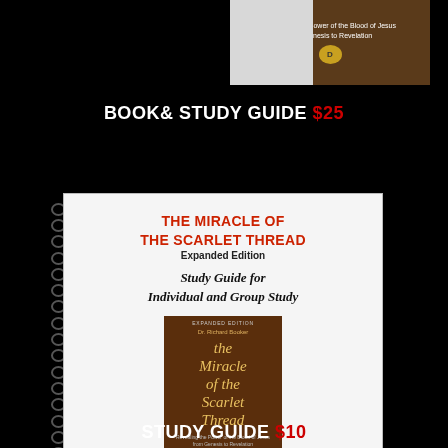[Figure (photo): Top portion of a book cover for 'The Miracle of the Scarlet Thread' with text 'Revealing the Power of the Blood of Jesus from Genesis to Revelation' on brown background, partially visible]
BOOK& STUDY GUIDE $25
[Figure (photo): Spiral-bound study guide book cover for 'The Miracle of the Scarlet Thread Expanded Edition, Study Guide for Individual and Group Study' by Dr. Richard Booker, with an inner image of the original book cover]
STUDY GUIDE $10